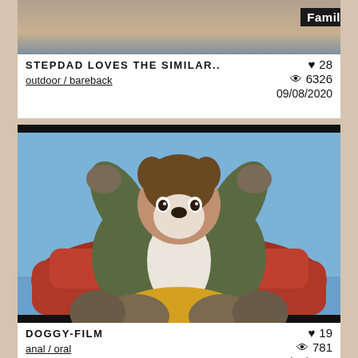[Figure (photo): Partial thumbnail of a video showing lower body of people, with 'Famil' label in top right corner]
STEPDAD LOVES THE SIMILAR..
outdoor / bareback
♥ 28  👁 6326  09/08/2020
[Figure (illustration): Animated furry/cartoon dog character sitting on a red couch wearing yellow shorts and a green jacket, with blue background]
DOGGY-FILM
anal / oral
♥ 19  👁 781  10/08/2020